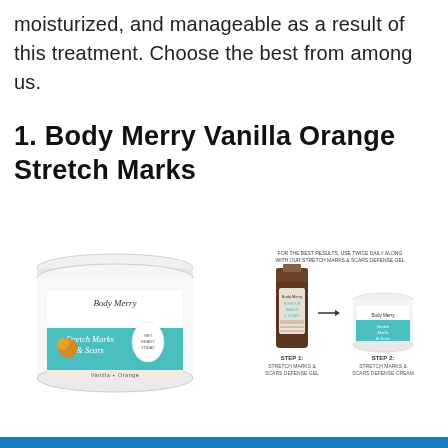moisturized, and manageable as a result of this treatment. Choose the best from among us.
1. Body Merry Vanilla Orange Stretch Marks
[Figure (photo): Product photo of Body Merry Stretch Marks & Scars cream jar (vanilla + orange scent) with a usage guide showing Step 1: Stretch Marks & Scars Defense Gel and Step 2: Stretch Marks & Scars Defense Cream]